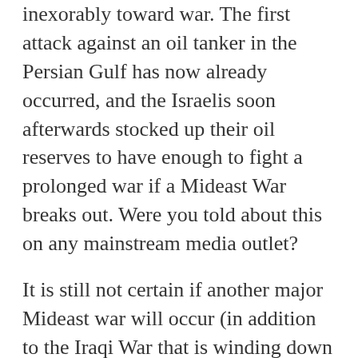inexorably toward war. The first attack against an oil tanker in the Persian Gulf has now already occurred, and the Israelis soon afterwards stocked up their oil reserves to have enough to fight a prolonged war if a Mideast War breaks out. Were you told about this on any mainstream media outlet?
It is still not certain if another major Mideast war will occur (in addition to the Iraqi War that is winding down and the Afghan War that Obama is ramping up). Matthew 24:6 warned of “wars and rumors of wars” in the latter days before the return of Jesus Christ. There have